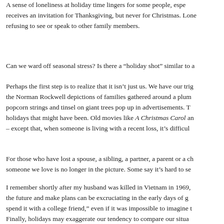A sense of loneliness at holiday time lingers for some people, espe... receives an invitation for Thanksgiving, but never for Christmas. Lone... refusing to see or speak to other family members.
Can we ward off seasonal stress? Is there a “holiday shot” similar to a...
Perhaps the first step is to realize that it isn’t just us. We have our trig... the Norman Rockwell depictions of families gathered around a plum... popcorn strings and tinsel on giant trees pop up in advertisements. T... holidays that might have been. Old movies like A Christmas Carol and... – except that, when someone is living with a recent loss, it’s difficul...
For those who have lost a spouse, a sibling, a partner, a parent or a ch... someone we love is no longer in the picture. Some say it’s hard to se...
I remember shortly after my husband was killed in Vietnam in 1969,... the future and make plans can be excruciating in the early days of g... spend it with a college friend,” even if it was impossible to imagine t...
Finally, holidays may exaggerate our tendency to compare our situa... parents with children and not feel an agonizing sense of loss – even...
You can also give yourself permission to re-imagine the holiday. Star...